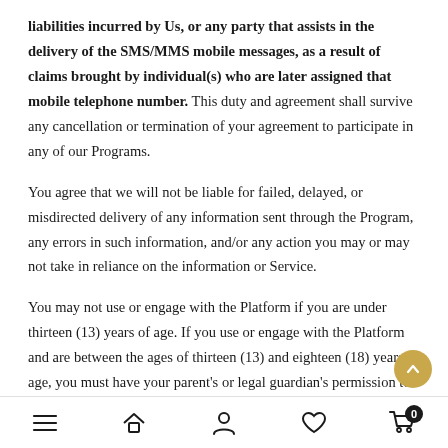liabilities incurred by Us, or any party that assists in the delivery of the SMS/MMS mobile messages, as a result of claims brought by individual(s) who are later assigned that mobile telephone number. This duty and agreement shall survive any cancellation or termination of your agreement to participate in any of our Programs.
You agree that we will not be liable for failed, delayed, or misdirected delivery of any information sent through the Program, any errors in such information, and/or any action you may or may not take in reliance on the information or Service.
You may not use or engage with the Platform if you are under thirteen (13) years of age. If you use or engage with the Platform and are between the ages of thirteen (13) and eighteen (18) years of age, you must have your parent's or legal guardian's permission to do so. By
Navigation bar with menu, home, account, wishlist, and cart (0) icons